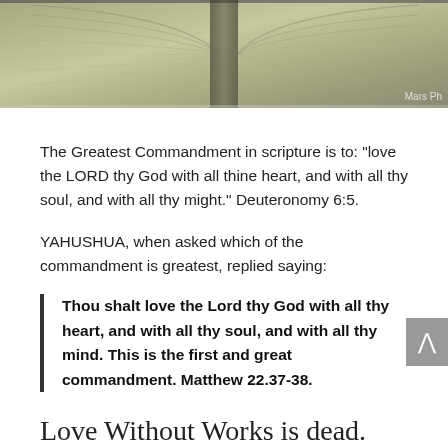[Figure (photo): Close-up photo of an open book showing pages from above, with a photo credit 'Mars Ph' visible in the bottom right corner of the image.]
The Greatest Commandment in scripture is to: “love the LORD thy God with all thine heart, and with all thy soul, and with all thy might.” Deuteronomy 6:5.
YAHUSHUA, when asked which of the commandment is greatest, replied saying:
Thou shalt love the Lord thy God with all thy heart, and with all thy soul, and with all thy mind. This is the first and great commandment. Matthew 22.37-38.
Love Without Works is dead.